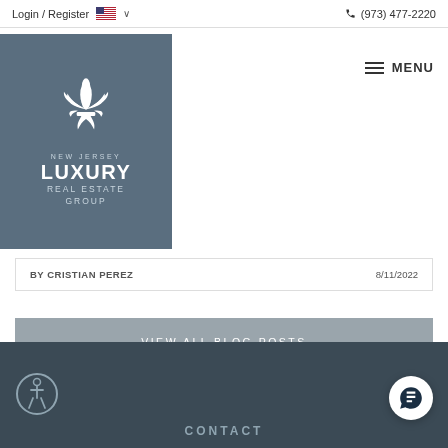Login / Register  (973) 477-2220  MENU
[Figure (logo): New Jersey Luxury Real Estate Group logo with fleur-de-lis symbol on dark slate background]
BY CRISTIAN PEREZ    8/11/2022
VIEW ALL BLOG POSTS
CONTACT